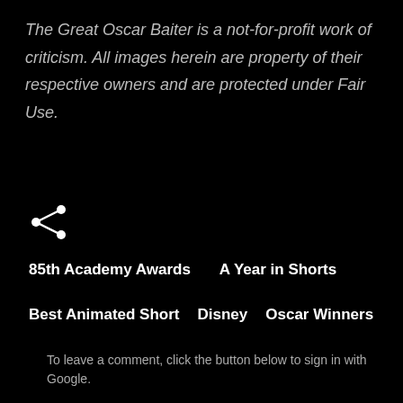The Great Oscar Baiter is a not-for-profit work of criticism. All images herein are property of their respective owners and are protected under Fair Use.
[Figure (illustration): Share icon (less-than style arrow with dots)]
85th Academy Awards
A Year in Shorts
Best Animated Short
Disney
Oscar Winners
To leave a comment, click the button below to sign in with Google.
SIGN IN WITH GOOGLE